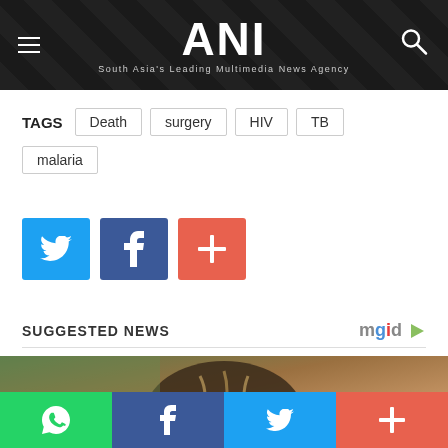ANI — South Asia's Leading Multimedia News Agency
TAGS  Death  surgery  HIV  TB  malaria
[Figure (screenshot): Social sharing buttons: Twitter (blue), Facebook (dark blue), Plus/more (orange-red)]
SUGGESTED NEWS
[Figure (photo): Woman with braided hair adorned with beads, seen from behind, wearing a pink top. Blurred green background. Dark circular icon overlay in bottom right.]
[Figure (screenshot): Bottom share bar with WhatsApp (green), Facebook (blue), Twitter (light blue), and More (orange-red) buttons]